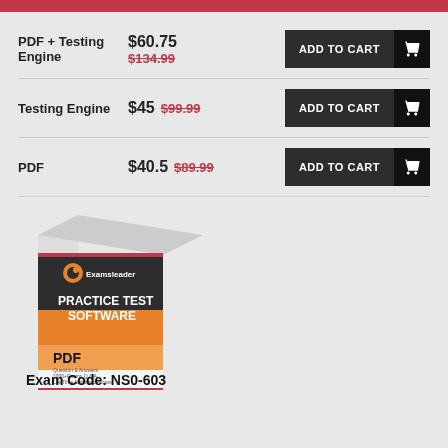PDF + Testing Engine — $60.75 (was $134.99) — ADD TO CART
Testing Engine — $45 (was $99.99) — ADD TO CART
PDF — $40.5 (was $89.99) — ADD TO CART
[Figure (illustration): Examsleader Practice Test Software box showing PDF product with exam code NS0-603]
Exam Code: NS0-603